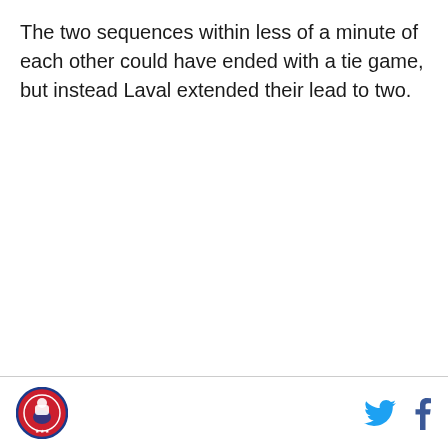The two sequences within less of a minute of each other could have ended with a tie game, but instead Laval extended their lead to two.
[logo] [twitter] [facebook]